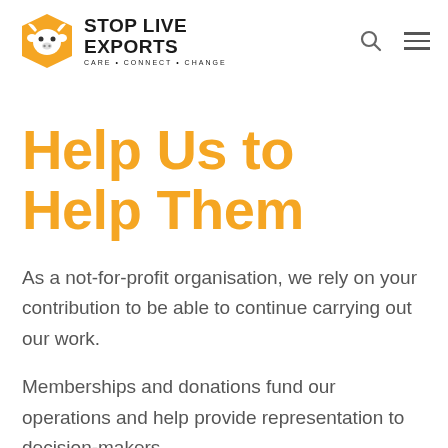Stop Live Exports — Care • Connect • Change
Help Us to Help Them
As a not-for-profit organisation, we rely on your contribution to be able to continue carrying out our work.
Memberships and donations fund our operations and help provide representation to decision-makers.